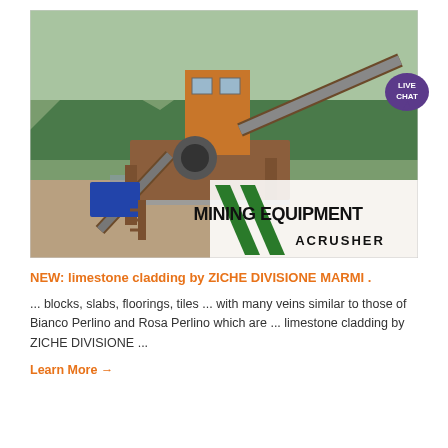[Figure (photo): Large industrial mining equipment / crusher machine on a dirt road with mountain and forest background. Bottom-right corner has a watermark/logo overlay reading 'MINING EQUIPMENT ACRUSHER' with green diagonal stripe graphics. A 'LIVE CHAT' speech bubble icon appears in the top-right corner of the image.]
NEW: limestone cladding by ZICHE DIVISIONE MARMI .
... blocks, slabs, floorings, tiles ... with many veins similar to those of Bianco Perlino and Rosa Perlino which are ... limestone cladding by ZICHE DIVISIONE ...
Learn More →